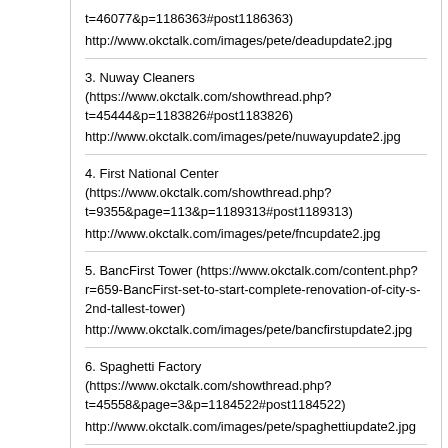t=46077&p=1186363#post1186363)

http://www.okctalk.com/images/pete/deadupdate2.jpg
3. Nuway Cleaners (https://www.okctalk.com/showthread.php?t=45444&p=1183826#post1183826)

http://www.okctalk.com/images/pete/nuwayupdate2.jpg
4. First National Center (https://www.okctalk.com/showthread.php?t=9355&page=113&p=1189313#post1189313)

http://www.okctalk.com/images/pete/fncupdate2.jpg
5. BancFirst Tower (https://www.okctalk.com/content.php?r=659-BancFirst-set-to-start-complete-renovation-of-city-s-2nd-tallest-tower)

http://www.okctalk.com/images/pete/bancfirstupdate2.jpg
6. Spaghetti Factory (https://www.okctalk.com/showthread.php?t=45558&page=3&p=1184522#post1184522)

http://www.okctalk.com/images/pete/spaghettiupdate2.jpg
7. Marriott Renaissance (https://www.okctalk.com/content.php?r=363-First-look-at-proposed-Marriott-Renaissance-hotel-in...